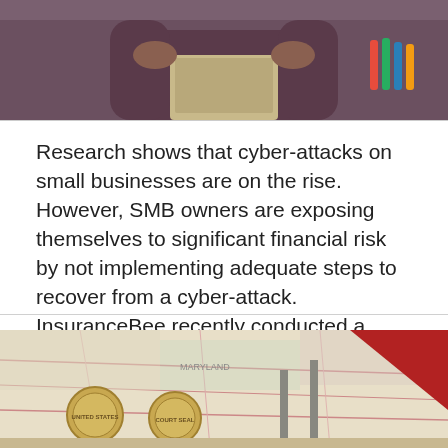[Figure (photo): Person holding a laptop, wearing a dark shirt, with colorful markers/pens visible in background. Cropped to show upper body and laptop.]
Research shows that cyber-attacks on small businesses are on the rise. However, SMB owners are exposing themselves to significant financial risk by not implementing adequate steps to recover from a cyber-attack. InsuranceBee recently conducted a survey of over 1,300 SMBs, revealing that 54% do not have a plan in place to deal with a cyber-attack. … Read more
[Figure (photo): Image showing a map background with official-looking seals/medallions, with a red triangular shape in the upper right corner.]